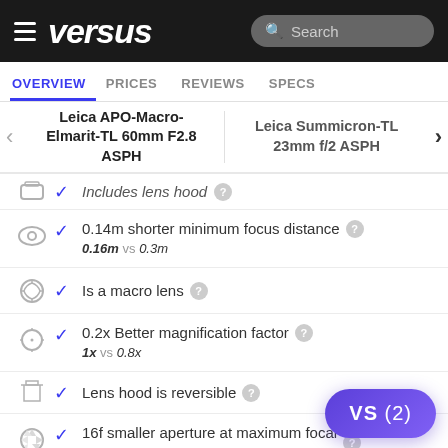versus — Search
OVERVIEW | PRICES | REVIEWS | SPECS
Leica APO-Macro-Elmarit-TL 60mm F2.8 ASPH vs Leica Summicron-TL 23mm f/2 ASPH
✓ Includes lens hood
✓ 0.14m shorter minimum focus distance — 0.16m vs 0.3m
✓ Is a macro lens
✓ 0.2x Better magnification factor — 1x vs 0.8x
✓ Lens hood is reversible
✓ 16f smaller aperture at maximum focal length — 32f vs 16f